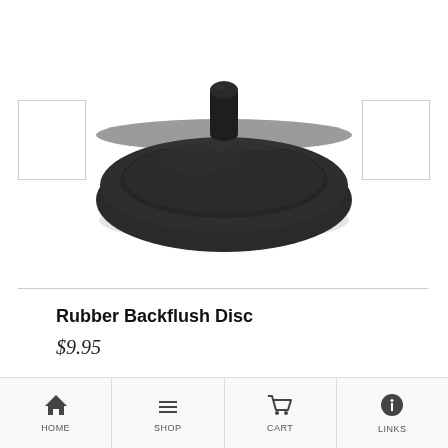[Figure (photo): A black rubber backflush disc with a small cylindrical nub on top, viewed from slightly above. The disc is round and flat with a recessed center area.]
Rubber Backflush Disc
$9.95
HOME  SHOP  CART  LINKS